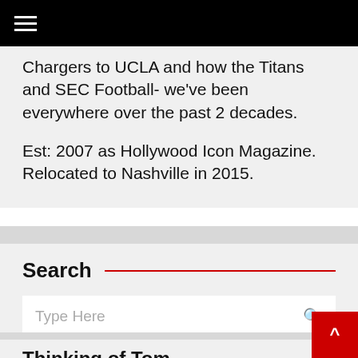≡ (hamburger menu)
Chargers to UCLA and how the Titans and SEC Football- we've been everywhere over the past 2 decades.

Est: 2007 as Hollywood Icon Magazine. Relocated to Nashville in 2015.
Search
Type Here
Thinking of Tom